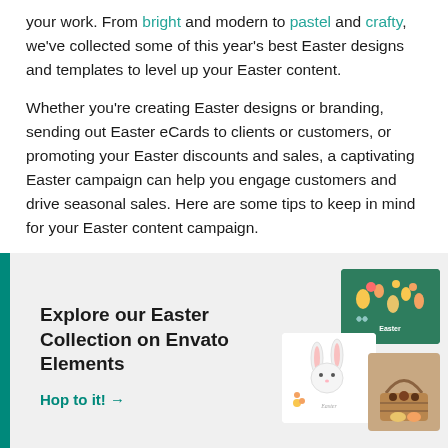your work. From bright and modern to pastel and crafty, we've collected some of this year's best Easter designs and templates to level up your Easter content.
Whether you're creating Easter designs or branding, sending out Easter eCards to clients or customers, or promoting your Easter discounts and sales, a captivating Easter campaign can help you engage customers and drive seasonal sales. Here are some tips to keep in mind for your Easter content campaign.
Explore our Easter Collection on Envato Elements
Hop to it! →
[Figure (illustration): Easter-themed promotional images: a teal/green card with Easter icons (eggs, bunny, flowers), a white card with bunny illustration and 'Easter' text, and a basket with chocolates photo.]